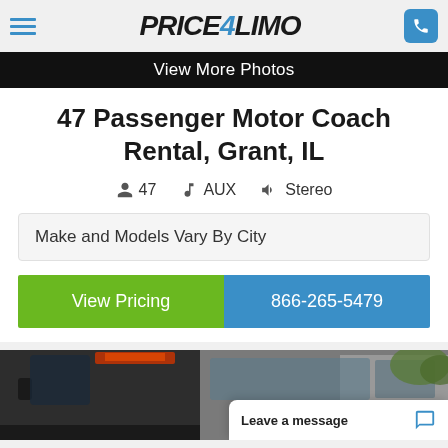Price4Limo
View More Photos
47 Passenger Motor Coach Rental, Grant, IL
47  AUX  Stereo
Make and Models Vary By City
View Pricing
866-265-5479
[Figure (photo): Motor coach bus exterior, dark colored bus parked outdoors with trees in background]
Leave a message